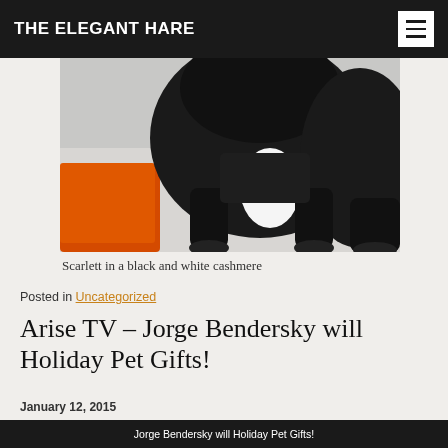THE ELEGANT HARE
[Figure (photo): A black dog (Scarlett) wearing a black and white cashmere sweater, standing on a light surface with an orange cushion visible in the background]
Scarlett in a black and white cashmere
Posted in Uncategorized
Arise TV – Jorge Bendersky will Holiday Pet Gifts!
January 12, 2015
Jorge Bendersky will Holiday Pet Gifts!